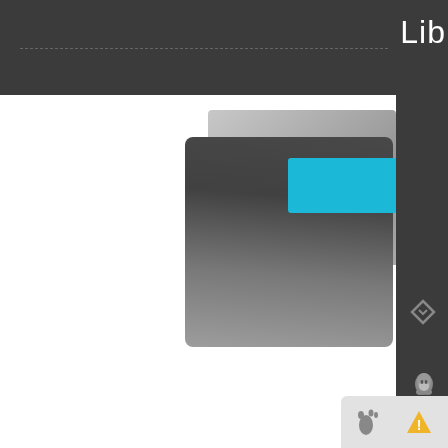[Figure (screenshot): Screenshot of a Chinese download manager application (likely Xunlei/Thunder) showing a folder icon with a blue tab, a dark themed UI with a right sidebar containing QQ, WeChat, and upload icons, and a file listing showing LibreOffice for Mac downloads. Text visible: 'Lib', 'LibreOffice for mac(O...', '271.1 MB / 5', '© 2017-06-27', 'LibreOffice for mac(', 'QQ']